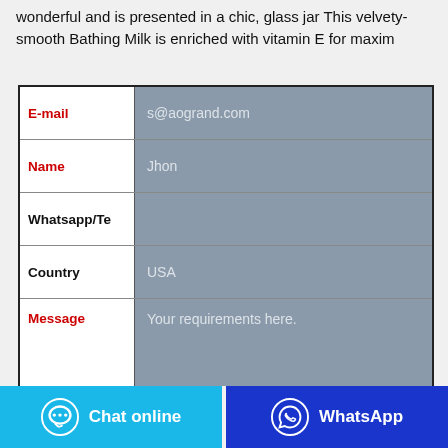wonderful and is presented in a chic, glass jar This velvety-smooth Bathing Milk is enriched with vitamin E for maxim
| Field | Value |
| --- | --- |
| E-mail | s@aogrand.com |
| Name | Jhon |
| Whatsapp/Te |  |
| Country | USA |
| Message | Your requirements here. |
Chat online
WhatsApp